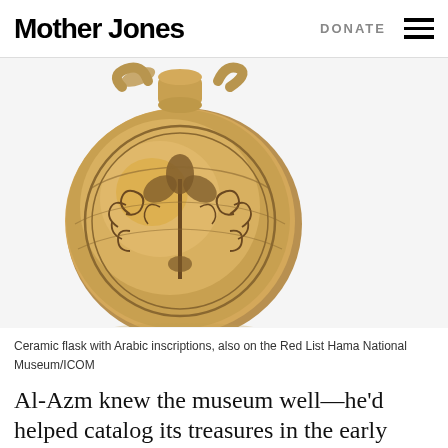Mother Jones | DONATE
[Figure (photo): Ceramic flask with Arabic inscriptions — a round terracotta vessel with two small handles at the top, decorated with intricate carved scrollwork and a central fleur-de-lis motif, photographed against a white background.]
Ceramic flask with Arabic inscriptions, also on the Red List Hama National Museum/ICOM
Al-Azm knew the museum well—he'd helped catalog its treasures in the early 2000s. And he